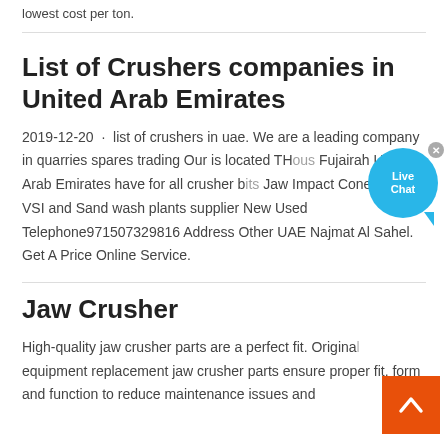lowest cost per ton.
List of Crushers companies in United Arab Emirates
2019-12-20 · list of crushers in uae. We are a leading company in quarries spares trading Our is located Thous Fujairah United Arab Emirates have for all crusher bits Jaw Impact Cone Screen VSI and Sand wash plants supplier New Used Telephone︎971507329816 Address︎ Other UAE Najmat Al Sahel. Get A Price Online Service.
Jaw Crusher
High-quality jaw crusher parts are a perfect fit. Original equipment replacement jaw crusher parts ensure proper fit, form and function to reduce maintenance issues and